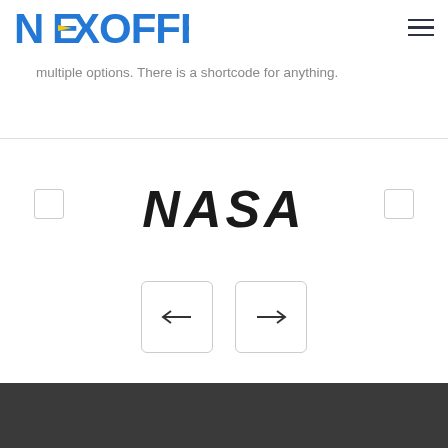NEXOFFER
multiple options. There is a shortcode for anything.
[Figure (logo): NASA wordmark logo in bold italic black letters]